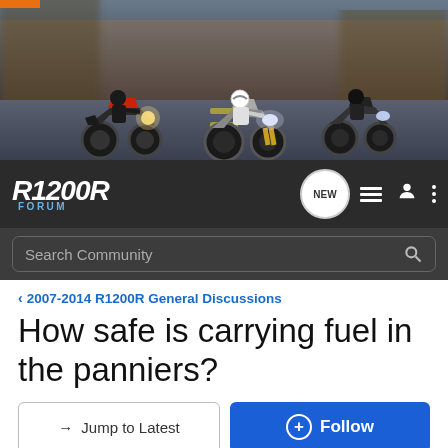[Figure (photo): Hero banner showing three motorcycles riding on a road at speed, with motion blur background. BMW R1200R style bikes.]
R1200R FORUM — Navigation bar with NEW button, menu icons, and search bar
< 2007-2014 R1200R General Discussions
How safe is carrying fuel in the panniers?
→ Jump to Latest   ⊕ Follow
1 - 6 of 6 Posts